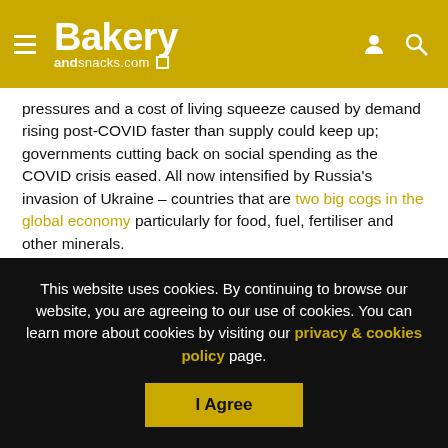Bakery andsnacks.com
pressures and a cost of living squeeze caused by demand rising post-COVID faster than supply could keep up; governments cutting back on social spending as the COVID crisis eased. All now intensified by Russia’s invasion of Ukraine – countries that are two big cogs in the global economy particularly for food, fuel, fertiliser and other minerals.
Russia supplies a third of gas to the EU and a quarter of the oil. Between them Russia and Ukraine export over half the traded sunflower oil; about a quarter of wheat and barley and
This website uses cookies. By continuing to browse our website, you are agreeing to our use of cookies. You can learn more about cookies by visiting our privacy & cookies policy page.
I Agree